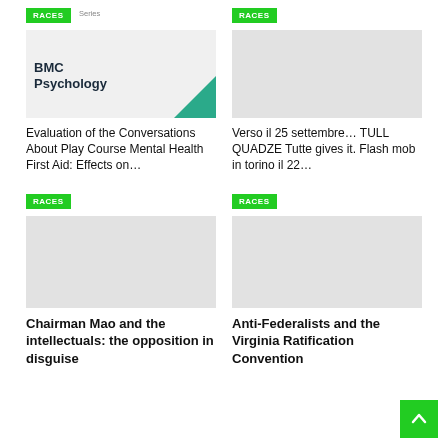[Figure (screenshot): BMC Psychology journal cover thumbnail with teal triangle in bottom-right corner, light gray background]
Evaluation of the Conversations About Play Course Mental Health First Aid: Effects on…
[Figure (photo): Gray placeholder thumbnail image for second article]
Verso il 25 settembre… TULL QUADZE Tutte gives it. Flash mob in torino il 22…
[Figure (photo): Gray placeholder thumbnail image for third article - Chairman Mao]
Chairman Mao and the intellectuals: the opposition in disguise
[Figure (photo): Gray placeholder thumbnail image for fourth article - Anti-Federalists]
Anti-Federalists and the Virginia Ratification Convention